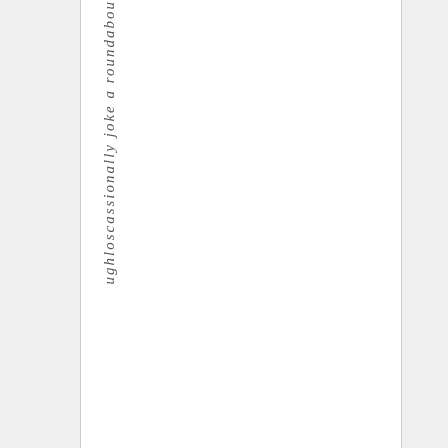ughloscassionally joke a roundabou